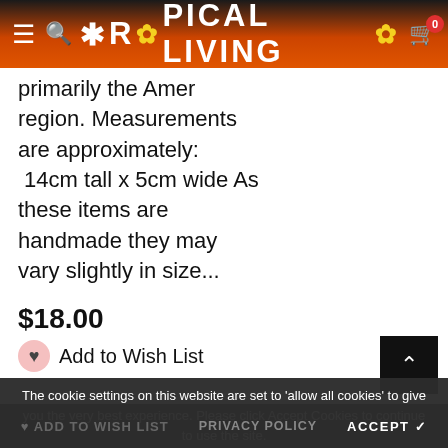TROPICAL LIVING
primarily the Amer region. Measurements are approximately: 14cm tall x 5cm wide As these items are handmade they may vary slightly in size...
$18.00
Add to Wish List
The cookie settings on this website are set to 'allow all cookies' to give you the very best experience. Please click Accept Cookies to continue to use the site.
PRIVACY POLICY   ACCEPT ✓